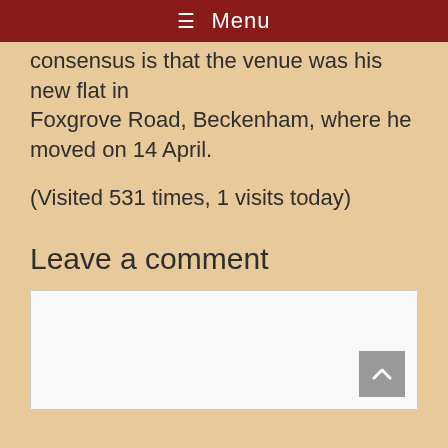≡ Menu
consensus is that the venue was his new flat in Foxgrove Road, Beckenham, where he moved on 14 April.
(Visited 531 times, 1 visits today)
Leave a comment